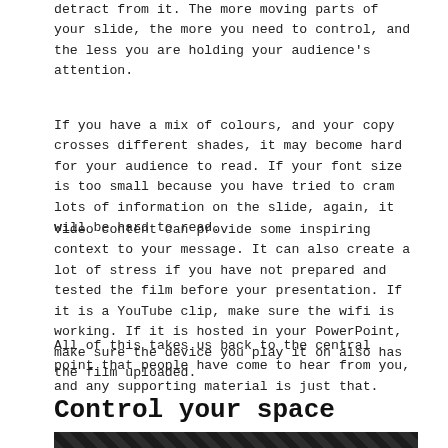detract from it. The more moving parts of your slide, the more you need to control, and the less you are holding your audience's attention.
If you have a mix of colours, and your copy crosses different shades, it may become hard for your audience to read. If your font size is too small because you have tried to cram lots of information on the slide, again, it will be hard to read.
Video content can provide some inspiring context to your message. It can also create a lot of stress if you have not prepared and tested the film before your presentation. If it is a YouTube clip, make sure the wifi is working. If it is hosted in your PowerPoint, make sure the device you play it on also has the film uploaded.
All of this takes us back to the central point that people have come to hear from you, and any supporting material is just that.
Control your space
[Figure (photo): Dark image strip at the bottom of the page, appearing to show a dimly lit room or stage setting.]